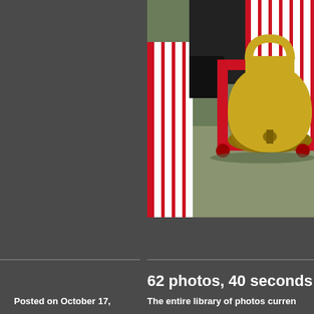[Figure (photo): Close-up photo of a brass bell on a red cart/mount, with people wearing red and white striped pants visible in the background on what appears to be a sports field or track.]
62 photos, 40 seconds
Posted on October 17,
The entire library of photos curren